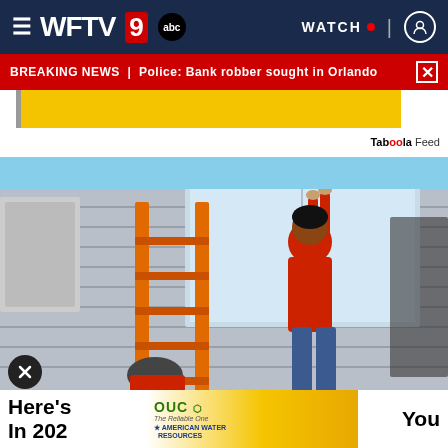WFTV 9 abc | WATCH
BREAKING NEWS | Police: Bank robber sought in Orlando
[Figure (screenshot): Yellow advertisement banner (partial)]
Taboola Feed
[Figure (photo): Person in red shirt climbing a ladder while installing a window on the exterior wall of a house with gray siding, blue sky in background]
Here's  You In 202
[Figure (screenshot): OUC advertisement banner with American Water Resources logo]